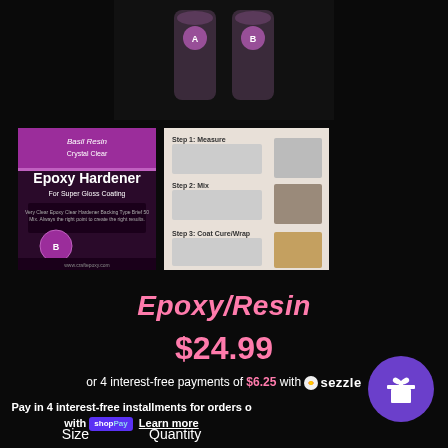[Figure (photo): Two product bottles labeled A and B on dark background, top center]
[Figure (photo): Crystal Clear Epoxy Hardener for Super Gloss Coating product label, purple/pink branding]
[Figure (photo): Instruction steps document showing how to use the epoxy resin product]
Epoxy/Resin
$24.99
or 4 interest-free payments of $6.25 with ✺ sezzle
Pay in 4 interest-free installments for orders over with shop Pay Learn more
Size   Quantity